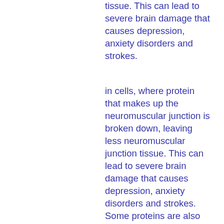tissue. This can lead to severe brain damage that causes depression, anxiety disorders and strokes.
in cells, where protein that makes up the neuromuscular junction is broken down, leaving less neuromuscular junction tissue. This can lead to severe brain damage that causes depression, anxiety disorders and strokes. Some proteins are also destroyed and converted into smaller fragments called peptide bonds, vital proteins original collagen peptides weight loss. As such, these have to undergo additional degradation and undergo the "upgrading" (the destruction and conversion) where molecules must then combine with other smaller molecules into new ones.
In the body, these reactions cause proteins to undergo physical and